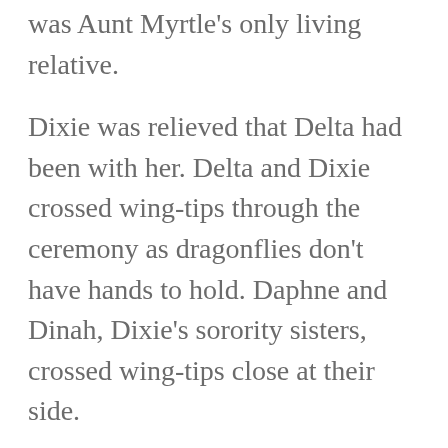was Aunt Myrtle's only living relative.
Dixie was relieved that Delta had been with her. Delta and Dixie crossed wing-tips through the ceremony as dragonflies don't have hands to hold. Daphne and Dinah, Dixie's sorority sisters, crossed wing-tips close at their side.
Daphne has made long flight  back to Oh Valley with Dixie and Delta. Dinah couldn't take time off work just then but said she'd drop in for a whirlwind visit while on hiatus between films. Yes,  Oh Valley was added to her itinerary for later in the summer.